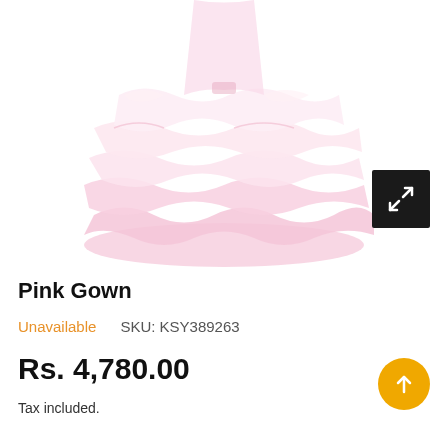[Figure (photo): Pink layered tulle/chiffon gown product photo showing the skirt portion with ruffled tiers in light pink color]
Pink Gown
Unavailable    SKU: KSY389263
Rs. 4,780.00
Tax included.